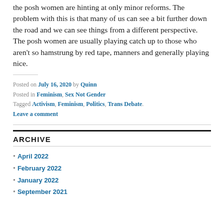the posh women are hinting at only minor reforms. The problem with this is that many of us can see a bit further down the road and we can see things from a different perspective. The posh women are usually playing catch up to those who aren't so hamstrung by red tape, manners and generally playing nice.
Posted on July 16, 2020 by Quinn
Posted in Feminism, Sex Not Gender
Tagged Activism, Feminism, Politics, Trans Debate.
Leave a comment
ARCHIVE
April 2022
February 2022
January 2022
September 2021